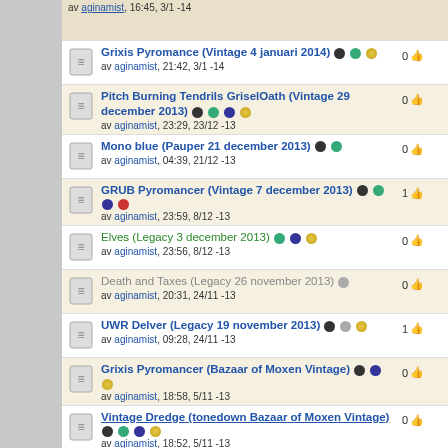Grixis Pyromance (Vintage 4 januari 2014) — av aginamist, 21:42, 3/1 -14, 0 votes
Pitch Burning Tendrils GriselOath (Vintage 29 december 2013) — av aginamist, 23:29, 23/12 -13, 0 votes
Mono blue (Pauper 21 december 2013) — av aginamist, 04:39, 21/12 -13, 0 votes
GRUB Pyromancer (Vintage 7 december 2013) — av aginamist, 23:59, 8/12 -13, 1 vote
Elves (Legacy 3 december 2013) — av aginamist, 23:56, 8/12 -13, 0 votes
Death and Taxes (Legacy 26 november 2013) — av aginamist, 20:31, 24/11 -13, 0 votes
UWR Delver (Legacy 19 november 2013) — av aginamist, 09:28, 24/11 -13, 1 vote
Grixis Pyromancer (Bazaar of Moxen Vintage) — av aginamist, 18:58, 5/11 -13, 0 votes
Vintage Dredge (tonedown Bazaar of Moxen Vintage) — av aginamist, 18:52, 5/11 -13, 0 votes
ANT (15 oktober 2013) — av aginamist, 22:52, 14/10 -13, 0 votes